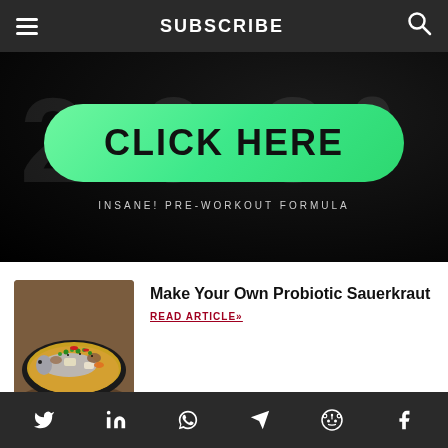SUBSCRIBE
[Figure (infographic): Dark background advertisement banner with a large green pill-shaped button reading CLICK HERE and subtitle text INSANE! PRE-WORKOUT FORMULA]
Make Your Own Probiotic Sauerkraut
READ ARTICLE»
[Figure (photo): Bowl of Asian-style soup/stew with fish, vegetables, and garnishes including green onions and red peppers on a dark bowl]
Social share icons: Twitter, LinkedIn, WhatsApp, Telegram, Reddit, Facebook